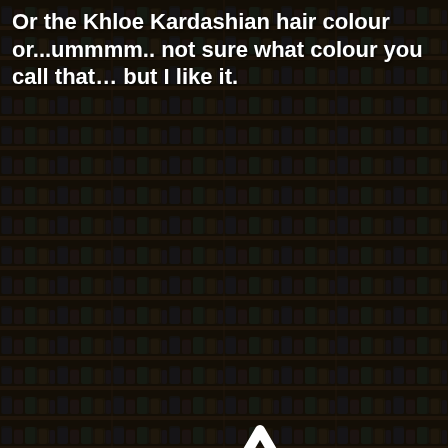[Figure (photo): Dark background photo of a shoe store with many shelves of sneakers/trainers arranged in rows, dimly lit with a dark overlay. A large white warning/caution triangle icon with exclamation mark is overlaid in the center-lower portion of the image.]
Or the Khloe Kardashian hair colour or...ummmm.. not sure what colour you call that… but I like it.